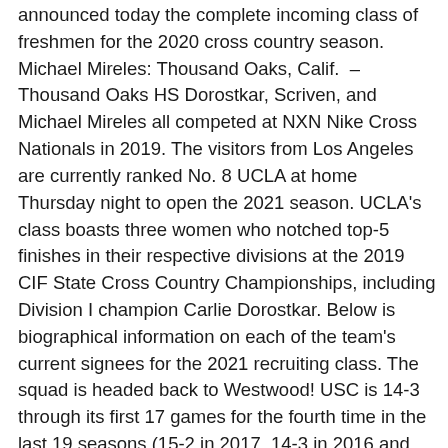announced today the complete incoming class of freshmen for the 2020 cross country season. Michael Mireles: Thousand Oaks, Calif.  – Thousand Oaks HS Dorostkar, Scriven, and Michael Mireles all competed at NXN Nike Cross Nationals in 2019. The visitors from Los Angeles are currently ranked No. 8 UCLA at home Thursday night to open the 2021 season. UCLA's class boasts three women who notched top-5 finishes in their respective divisions at the 2019 CIF State Cross Country Championships, including Division I champion Carlie Dorostkar. Below is biographical information on each of the team's current signees for the 2021 recruiting class. The squad is headed back to Westwood! USC is 14-3 through its first 17 games for the fourth time in the last 19 seasons (15-2 in 2017, 14-3 in 2016 and 14-3 in 2020...all three teams were 15-3 after 18 games). Dorostkar and Scriven finished sixth and 33rd, respectively, in the women's 5k while Mireles took 25th in the men's race. Keaton Heisterman: Nanaimo, British Columbia – Brentwood